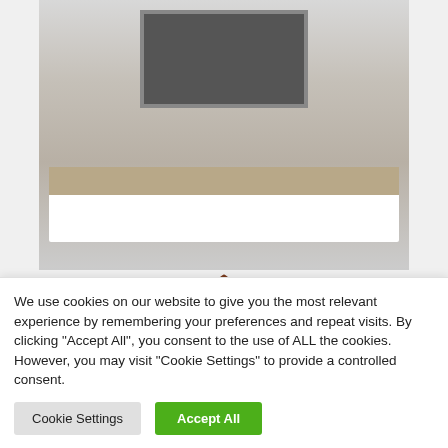[Figure (photo): Product photo of a modern TV unit / living room furniture composition in white lacquer and smoked wood tones, with a TV mounted above and shelving units on either side. Logo for 'Tous mes Meubles' shown below the photo.]
Tousmesmeubles Composition TV 2 colonnes Blanc laqué /Bois fumé - ISCHIA - L 277 x L35
We use cookies on our website to give you the most relevant experience by remembering your preferences and repeat visits. By clicking "Accept All", you consent to the use of ALL the cookies. However, you may visit "Cookie Settings" to provide a controlled consent.